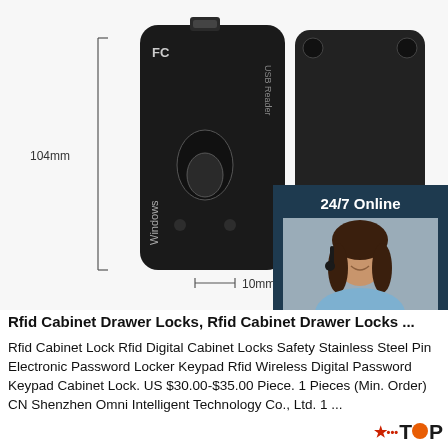[Figure (photo): Product photo of a black RFID USB card reader shown from two angles (front and back), with dimension annotations: 104mm height and 10mm depth. White background.]
[Figure (photo): Overlay chat widget: '24/7 Online' header, photo of smiling woman with headset, 'Click here for free chat!' text, and orange QUOTATION button.]
Rfid Cabinet Drawer Locks, Rfid Cabinet Drawer Locks ...
Rfid Cabinet Lock Rfid Digital Cabinet Locks Safety Stainless Steel Pin Electronic Password Locker Keypad Rfid Wireless Digital Password Keypad Cabinet Lock. US $30.00-$35.00 Piece. 1 Pieces (Min. Order) CN Shenzhen Omni Intelligent Technology Co., Ltd. 1 ...